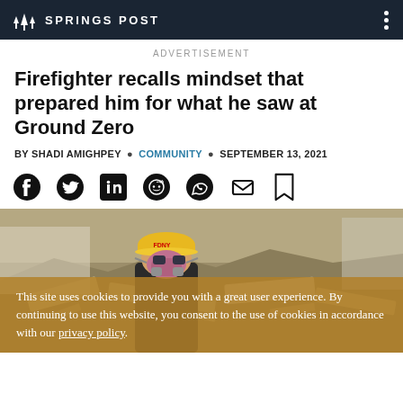SPRINGS POST
ADVERTISEMENT
Firefighter recalls mindset that prepared him for what he saw at Ground Zero
BY SHADI AMIGHPEY • COMMUNITY • SEPTEMBER 13, 2021
[Figure (infographic): Social sharing icons row: Facebook, Twitter, LinkedIn, Reddit, WhatsApp, Email, Bookmark]
[Figure (photo): Firefighter wearing yellow hard hat and pink respirator mask standing among rubble at Ground Zero]
This site uses cookies to provide you with a great user experience. By continuing to use this website, you consent to the use of cookies in accordance with our privacy policy.